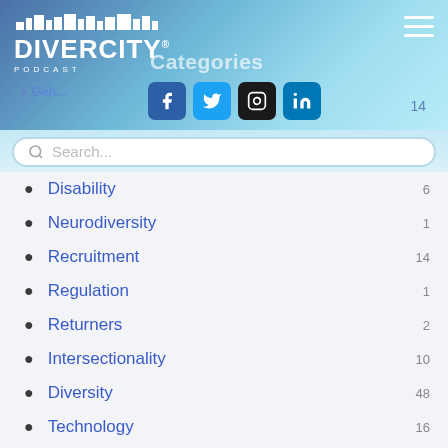DIVERCITY PODCAST — Categories
Gender 14
Disability 6
Neurodiversity 1
Recruitment 14
Regulation 1
Returners 2
Intersectionality 10
Diversity 48
Technology 16
Role models 2
LGBTQ+ 7
Faith 7
Race 17
Mental Health 4
Inclusivity 31
Youth 1